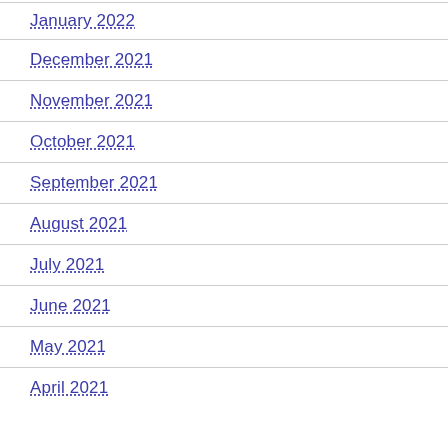January 2022
December 2021
November 2021
October 2021
September 2021
August 2021
July 2021
June 2021
May 2021
April 2021